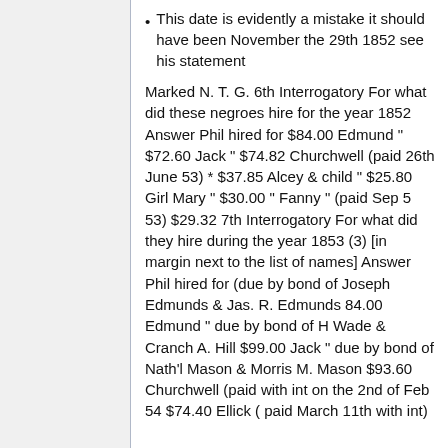This date is evidently a mistake it should have been November the 29th 1852 see his statement
Marked N. T. G. 6th Interrogatory For what did these negroes hire for the year 1852 Answer Phil hired for $84.00 Edmund " $72.60 Jack " $74.82 Churchwell (paid 26th June 53) * $37.85 Alcey & child " $25.80 Girl Mary " $30.00 " Fanny " (paid Sep 5 53) $29.32 7th Interrogatory For what did they hire during the year 1853 (3) [in margin next to the list of names] Answer Phil hired for (due by bond of Joseph Edmunds & Jas. R. Edmunds 84.00 Edmund " due by bond of H Wade & Cranch A. Hill $99.00 Jack " due by bond of Nath'l Mason & Morris M. Mason $93.60 Churchwell (paid with int on the 2nd of Feb 54 $74.40 Ellick ( paid March 11th with int)